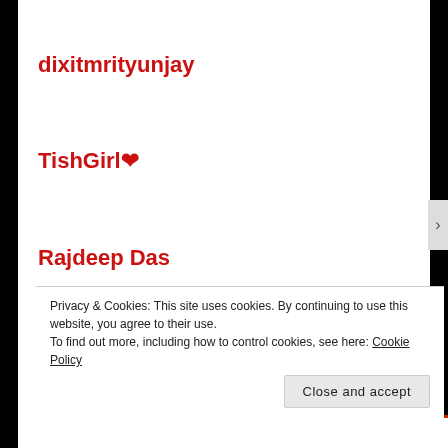dixitmrityunjay
TishGirl ❤
Rajdeep Das
Shreya
Ruthie Playle
Privacy & Cookies: This site uses cookies. By continuing to use this website, you agree to their use. To find out more, including how to control cookies, see here: Cookie Policy
Close and accept